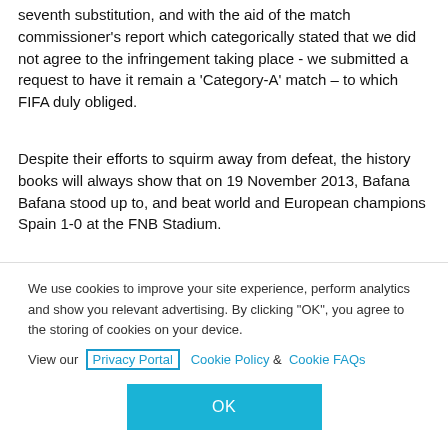seventh substitution, and with the aid of the match commissioner's report which categorically stated that we did not agree to the infringement taking place - we submitted a request to have it remain a 'Category-A' match – to which FIFA duly obliged.
Despite their efforts to squirm away from defeat, the history books will always show that on 19 November 2013, Bafana Bafana stood up to, and beat world and European champions Spain 1-0 at the FNB Stadium.
Watch a few highlights from the match here:
We use cookies to improve your site experience, perform analytics and show you relevant advertising. By clicking "OK", you agree to the storing of cookies on your device. View our Privacy Portal Cookie Policy & Cookie FAQs